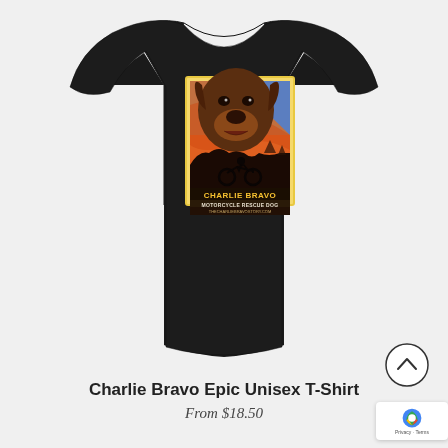[Figure (photo): Black unisex t-shirt with a graphic print on the chest featuring a large brown dog (Labrador/mixed breed) face above a sunset desert landscape with a motorcycle silhouette and rider. The graphic has text reading 'CHARLIE BRAVO MOTORCYCLE RESCUE DOG THECHARLIEBRAVOSTORY.COM' on a colorful poster-style print with yellow border.]
Charlie Bravo Epic Unisex T-Shirt
From $18.50